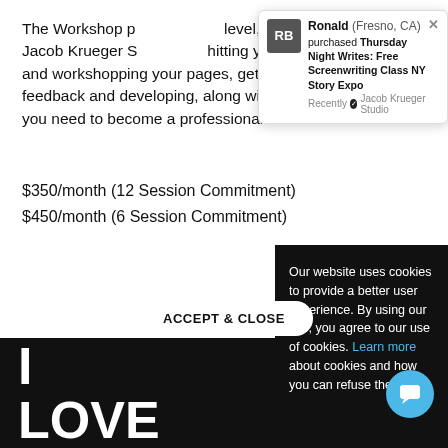The Workshop p[...] level, who will ch[...] Jacob Krueger S[...] hitting your deadlines, sharing and workshopping your pages, getting helpful and incisive feedback and developing, along with your group, the skills you need to become a professional writer.
$350/month (12 Session Commitment)
$450/month (6 Session Commitment)
[Figure (screenshot): Notification popup showing Ronald (Fresno, CA) purchased Thursday Night Writes: Free Screenwriting Class NY Story Expo, recently from Jacob Krueger Studio]
[Figure (screenshot): Cookie consent overlay with text: Our website uses cookies to provide a better user experience. By using our site, you agree to our use of cookies. Learn more about cookies and how you can refuse them. ACCEPT & CLOSE button and chat widget.]
I
LOVE